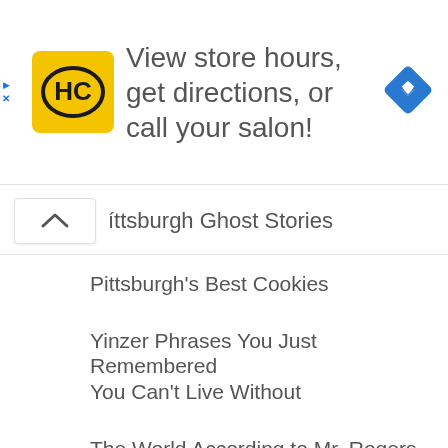[Figure (screenshot): Advertisement banner with HC (Hair Club) yellow logo and text: View store hours, get directions, or call your salon! with a blue navigation diamond icon on the right.]
íttsburgh Ghost Stories
Pittsburgh's Best Cookies
Yinzer Phrases You Just Remembered You Can't Live Without
The World According to Mr. Rogers
Hidden Pittsburgh Gems
Pittsburgh Firsts